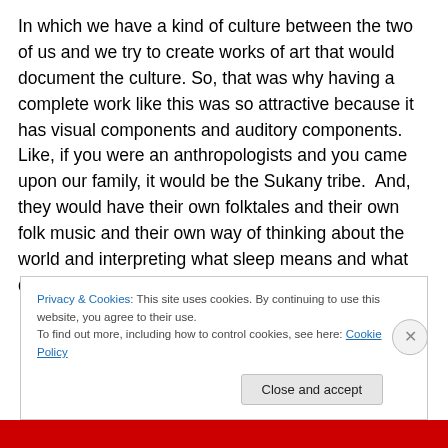In which we have a kind of culture between the two of us and we try to create works of art that would document the culture. So, that was why having a complete work like this was so attractive because it has visual components and auditory components. Like, if you were an anthropologists and you came upon our family, it would be the Sukany tribe. And, they would have their own folktales and their own folk music and their own way of thinking about the world and interpreting what sleep means and what dreams are and all of that stuff.
Privacy & Cookies: This site uses cookies. By continuing to use this website, you agree to their use. To find out more, including how to control cookies, see here: Cookie Policy